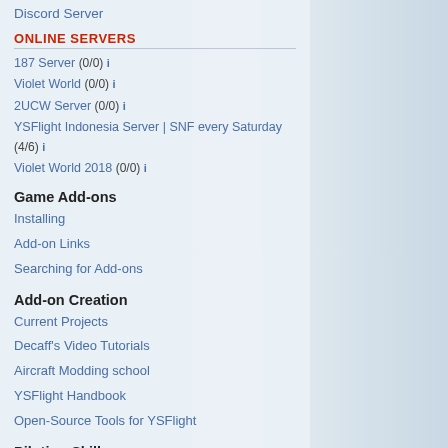Discord Server
ONLINE SERVERS
187 Server (0/0) i
Violet World (0/0) i
2UCW Server (0/0) i
YSFlight Indonesia Server | SNF every Saturday (4/6) i
Violet World 2018 (0/0) i
Game Add-ons
Installing
Add-on Links
Searching for Add-ons
Add-on Creation
Current Projects
Decaff's Video Tutorials
Aircraft Modding school
YSFlight Handbook
Open-Source Tools for YSFlight
Piloting Skills
Offline Activities
Combat Guide
Aerobatic Guide
HQ Civilian Squads
Orange Skies Aerobatics
Abel Jets VA
NatComAir YS VA